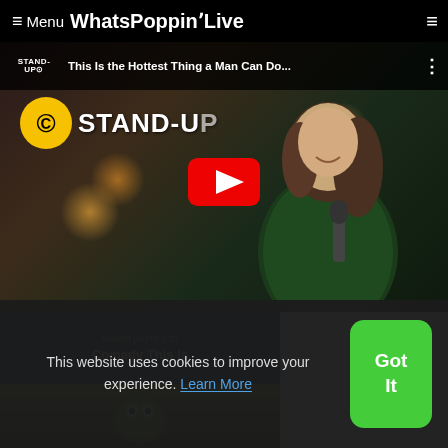≡ Menu WhatsPoppinʼLive
[Figure (screenshot): YouTube video thumbnail for Comedy Central Stand-Up: 'This Is the Hottest Thing a Man Can Do...' featuring a woman in green velvet jacket on stage with microphone. Red YouTube play button visible in center. Comedy Central Stand-Up logo shown.]
...violent journey to Comedy This Is
[Figure (photo): Thumbnail image showing a green creature/mascot character]
This website uses cookies to improve your experience. Learn More
Got It